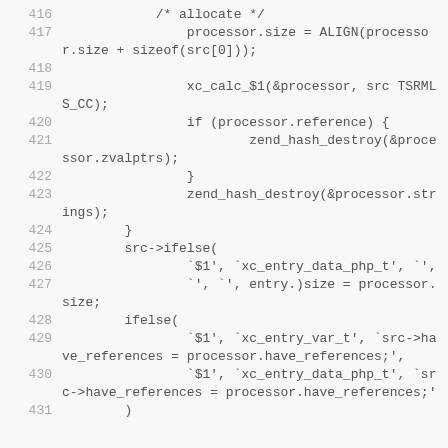416: /* allocate */
417: processor.size = ALIGN(processor.size + sizeof(src[0]));
418: (blank)
419: xc_calc_$1(&processor, src TSRMLS_CC);
420: if (processor.reference) {
421: zend_hash_destroy(&processor.zvalptrs);
422: }
423: zend_hash_destroy(&processor.strings);
424: }
425: src->ifelse(
426: `$1', `xc_entry_data_php_t', `',
427: `', `', entry.)size = processor.size;
428: ifelse(
429: `$1', `xc_entry_var_t', `src->have_references = processor.have_references;',
430: `$1', `xc_entry_data_php_t', `src->have_references = processor.have_references;'
431: )